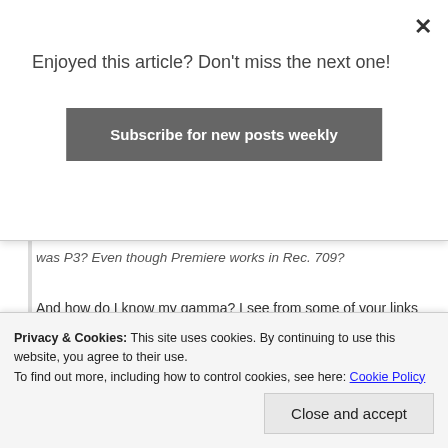Enjoyed this article? Don't miss the next one!
Subscribe for new posts weekly
was P3? Even though Premiere works in Rec. 709?
And how do I know my gamma? I see from some of your links that P3 is native 2.2. Is that correct?
Is the accuracy of VLC something to take note of? Is it a good thing or bad thing that I'm relying solely on VLC to know if my export is accurate?
Basically, I can't change or grade anything as they
Privacy & Cookies: This site uses cookies. By continuing to use this website, you agree to their use.
To find out more, including how to control cookies, see here: Cookie Policy
Close and accept
the project and not have to worry about P3.